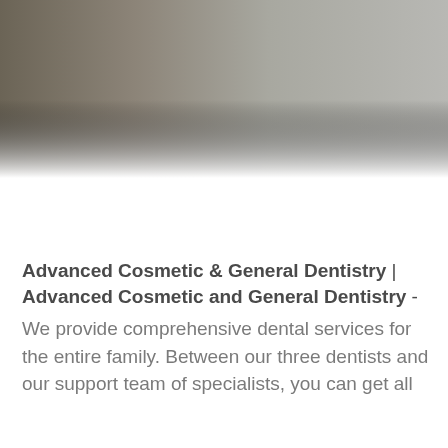[Figure (photo): A gradient banner image transitioning from dark olive/brown on the left to light gray on the right, serving as a decorative header banner for a dental practice website.]
Advanced Cosmetic & General Dentistry | Advanced Cosmetic and General Dentistry -
We provide comprehensive dental services for the entire family. Between our three dentists and our support team of specialists, you can get all